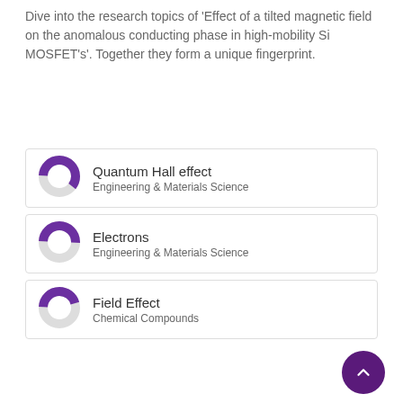Dive into the research topics of 'Effect of a tilted magnetic field on the anomalous conducting phase in high-mobility Si MOSFET's'. Together they form a unique fingerprint.
[Figure (infographic): Donut chart badge with label: Quantum Hall effect, Engineering & Materials Science]
[Figure (infographic): Donut chart badge with label: Electrons, Engineering & Materials Science]
[Figure (infographic): Donut chart badge with label: Field Effect, Chemical Compounds]
[Figure (infographic): Donut chart badge with label: Magnetic Field, Chemical Compounds]
[Figure (infographic): Donut chart badge with label: Magnetic fields, Engineering & Materials Science]